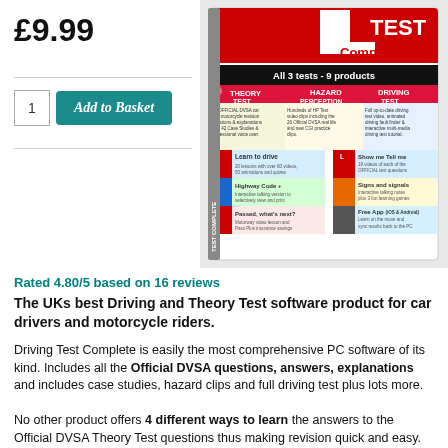£9.99
[Figure (illustration): Product box image for 'Driving Test Complete' software showing Theory Test, Hazard Perception, Driving Test, Learn to Drive, Highway Code+, Passed what's next, Show me Tell me, Signs and signals, Free App sections. All 3 tests - 9 products.]
Rated 4.80/5 based on 16 reviews
The UKs best Driving and Theory Test software product for car drivers and motorcycle riders.
Driving Test Complete is easily the most comprehensive PC software of its kind. Includes all the Official DVSA questions, answers, explanations and includes case studies, hazard clips and full driving test plus lots more.
No other product offers 4 different ways to learn the answers to the Official DVSA Theory Test questions thus making revision quick and easy.